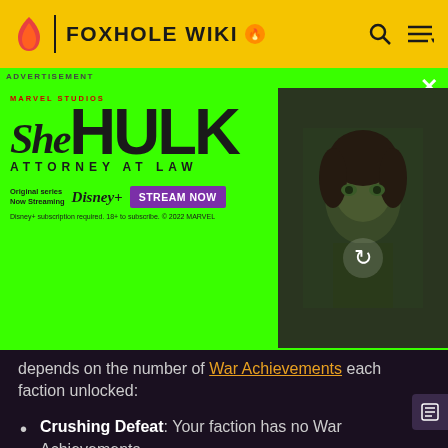FOXHOLE WIKI
[Figure (photo): She-Hulk Attorney at Law advertisement banner with Marvel Studios branding, Disney+ streaming promotion with green background and character photo]
depends on the number of War Achievements each faction unlocked:
Crushing Defeat: Your faction has no War Achievements
Defeat: Your faction has 1 or more War Achievements
Close Defeat: Your faction has 3 or more War Achievements
Valiant Defeat: Your faction has 6 or more War Achievements